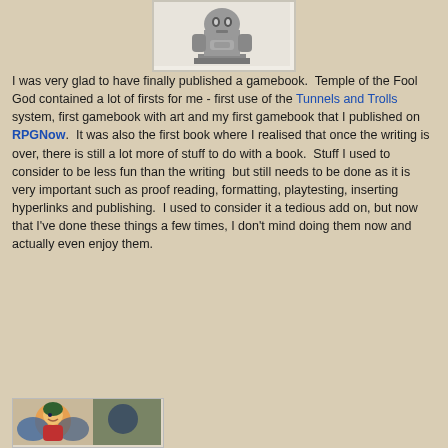[Figure (photo): Black and white photograph of a seated idol or figurine, possibly a gargoyle or fantasy creature, on a pedestal]
I was very glad to have finally published a gamebook.  Temple of the Fool God contained a lot of firsts for me - first use of the Tunnels and Trolls system, first gamebook with art and my first gamebook that I published on RPGNow.  It was also the first book where I realised that once the writing is over, there is still a lot more of stuff to do with a book.  Stuff I used to consider to be less fun than the writing  but still needs to be done as it is very important such as proof reading, formatting, playtesting, inserting hyperlinks and publishing.  I used to consider it a tedious add on, but now that I've done these things a few times, I don't mind doing them now and actually even enjoy them.
[Figure (illustration): Colorful illustration partially visible at bottom left, showing a fantasy character or scene]